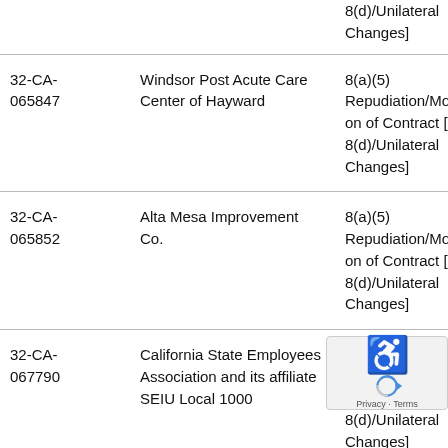| Case Number | Respondent | Allegation Type |
| --- | --- | --- |
|  |  | 8(d)/Unilateral Changes] |
| 32-CA-065847 | Windsor Post Acute Care Center of Hayward | 8(a)(5) Repudiation/Modification of Contract [Sec 8(d)/Unilateral Changes] |
| 32-CA-065852 | Alta Mesa Improvement Co. | 8(a)(5) Repudiation/Modification of Contract [Sec 8(d)/Unilateral Changes] |
| 32-CA-067790 | California State Employees Association and its affiliate SEIU Local 1000 | 8(a)(5) Repudiation/Modification of Contract [Sec 8(d)/Unilateral Changes] |
| 32-CA-068748 | San Pablo Healthcare and Wellness Center | 8(a)(5) Repudiation/Modification of Contract [Sec 8(d)/Unilateral Changes] |